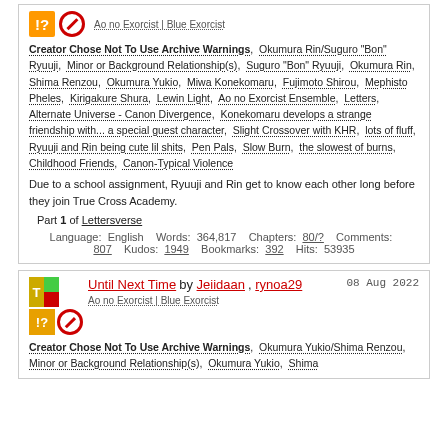Ao no Exorcist | Blue Exorcist
Creator Chose Not To Use Archive Warnings, Okumura Rin/Suguro "Bon" Ryuuji, Minor or Background Relationship(s), Suguro "Bon" Ryuuji, Okumura Rin, Shima Renzou, Okumura Yukio, Miwa Konekomaru, Fujimoto Shirou, Mephisto Pheles, Kirigakure Shura, Lewin Light, Ao no Exorcist Ensemble, Letters, Alternate Universe - Canon Divergence, Konekomaru develops a strange friendship with... a special guest character, Slight Crossover with KHR, lots of fluff, Ryuuji and Rin being cute lil shits, Pen Pals, Slow Burn, the slowest of burns, Childhood Friends, Canon-Typical Violence
Due to a school assignment, Ryuuji and Rin get to know each other long before they join True Cross Academy.
Part 1 of Lettersverse
Language: English   Words: 364,817   Chapters: 80/?   Comments: 807   Kudos: 1949   Bookmarks: 392   Hits: 53935
Until Next Time by Jeiidaan, rynoa29   08 Aug 2022
Ao no Exorcist | Blue Exorcist
Creator Chose Not To Use Archive Warnings, Okumura Yukio/Shima Renzou, Minor or Background Relationship(s), Okumura Yukio, Shima